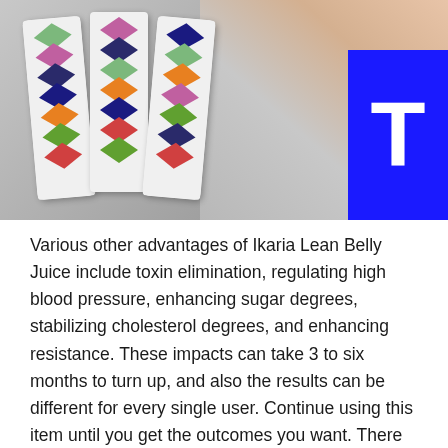[Figure (photo): Product photo showing multiple Ikaria Lean Belly Juice supplement bottles with colorful diamond/triangle pattern labels arranged on a gray surface, alongside a person's skin/shoulder, with a blue square containing a white 'T' letter in the upper right corner.]
Various other advantages of Ikaria Lean Belly Juice include toxin elimination, regulating high blood pressure, enhancing sugar degrees, stabilizing cholesterol degrees, and enhancing resistance. These impacts can take 3 to six months to turn up, and also the results can be different for every single user. Continue using this item until you get the outcomes you want. There are no adverse